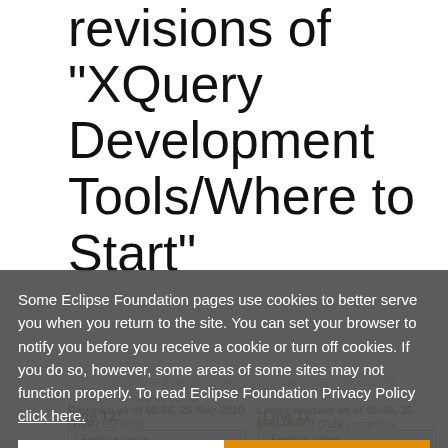revisions of "XQuery Development Tools/Where to Start"
Some Eclipse Foundation pages use cookies to better serve you when you return to the site. You can set your browser to notify you before you receive a cookie or turn off cookies. If you do so, however, some areas of some sites may not function properly. To read Eclipse Foundation Privacy Policy click here.
Decline
Allow cookies
Revision as of 08:06, 25 May 2010 (view)
Latest revision as of 05:45, 25 May 2010
(Talk | contribs)
(Talk | contribs)
← Older edit
(8 intermediate revisions by the same user not shown)
Line 12:
Line 12:
| Feature name
| Feature name